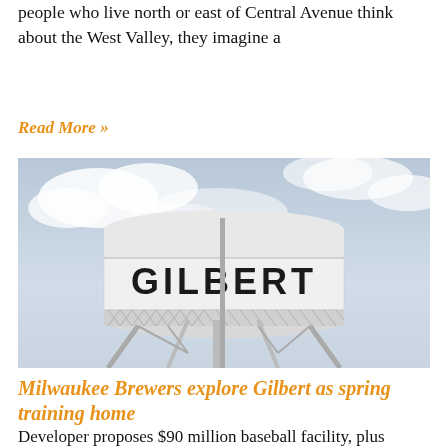people who live north or east of Central Avenue think about the West Valley, they imagine a
Read More »
[Figure (photo): A water tower emblazoned with the word GILBERT in large black letters against a cloudy sky background.]
Milwaukee Brewers explore Gilbert as spring training home
Developer proposes $90 million baseball facility, plus